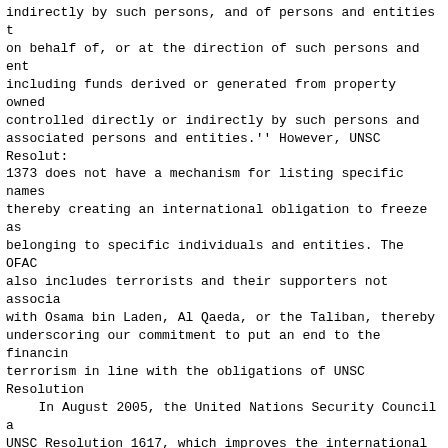indirectly by such persons, and of persons and entities acting on behalf of, or at the direction of such persons and entities, including funds derived or generated from property owned or controlled directly or indirectly by such persons and associated persons and entities.'' However, UNSC Resolution 1373 does not have a mechanism for listing specific names, thereby creating an international obligation to freeze assets belonging to specific individuals and entities. The OFAC list also includes terrorists and their supporters not associated with Osama bin Laden, Al Qaeda, or the Taliban, thereby underscoring our commitment to put an end to the financing of terrorism in line with the obligations of UNSC Resolution 1373.
In August 2005, the United Nations Security Council adopted UNSC Resolution 1617, which improves the international community's efforts to combat terrorism by more clearly identifying those who may be listed by the UNSC 1267 Sanctions Committee. It also extends the mandate of the Analysis and Monitoring Team by assisting the United Nations Security Council to oversee implementation of these sanctions originally imposed by UNSC Resolution 1267 and successor resolutions. The United States worked closely with other members of the United Nations Security Council in the drafting of UNSC Resolution 1617, which passed unanimously. The UNSC 1267 Sanctions Committee continues to update the consolidated list of individuals and entities associated with the Taliban, Osama bin Laden, or Al Qaeda.
Q.2. Have improvements in the Saudi financial and law enforcement communities improved to the point where senior members of the world's deadliest terrorist organization can no longer apply for and receive credit cards?